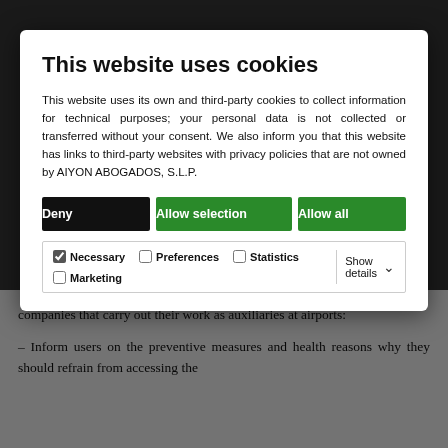This website uses cookies
This website uses its own and third-party cookies to collect information for technical purposes; your personal data is not collected or transferred without your consent. We also inform you that this website has links to third-party websites with privacy policies that are not owned by AIYON ABOGADOS, S.L.P.
Deny | Allow selection | Allow all
Necessary  Preferences  Statistics  Show details  Marketing
companies that carry out their work as auxiliaries at airports:
– Inform users on the preventive measures and health reasons why they should refrain from accessing the